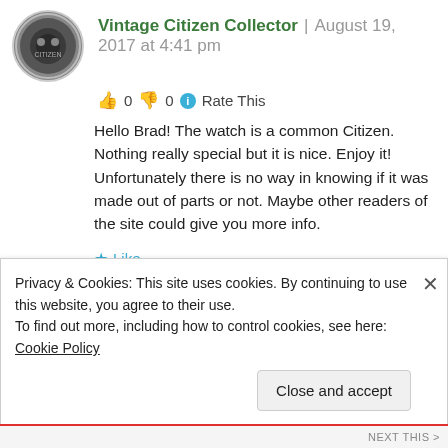Vintage Citizen Collector | August 19, 2017 at 4:41 pm
👍 0 👎 0 ℹ Rate This
Hello Brad! The watch is a common Citizen. Nothing really special but it is nice. Enjoy it! Unfortunately there is no way in knowing if it was made out of parts or not. Maybe other readers of the site could give you more info.
★ Like
Reply
Privacy & Cookies: This site uses cookies. By continuing to use this website, you agree to their use.
To find out more, including how to control cookies, see here: Cookie Policy
Close and accept